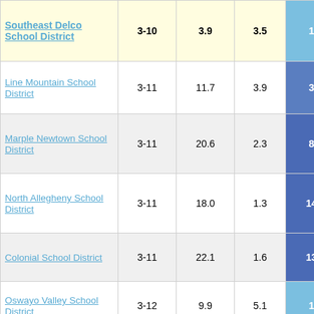| District | Grades | Col3 | Col4 | Col5 |
| --- | --- | --- | --- | --- |
| Southeast Delco School District | 3-10 | 3.9 | 3.5 | 1.12 |
| Line Mountain School District | 3-11 | 11.7 | 3.9 | 3.01 |
| Marple Newtown School District | 3-11 | 20.6 | 2.3 | 8.95 |
| North Allegheny School District | 3-11 | 18.0 | 1.3 | 14.25 |
| Colonial School District | 3-11 | 22.1 | 1.6 | 13.55 |
| Oswayo Valley School District | 3-12 | 9.9 | 5.1 | 1.93 |
| Upper Saint Clair School District | 3-11 | 13.8 | 1.8 | 7.86 |